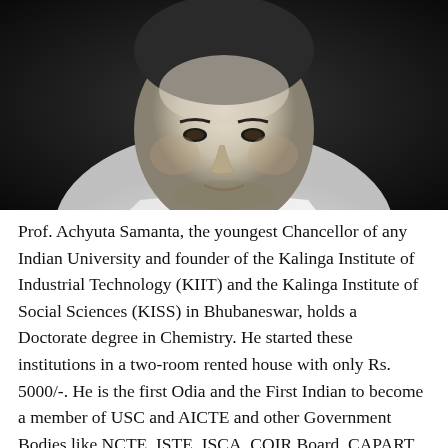[Figure (photo): Black and white portrait photograph of Prof. Achyuta Samanta, a middle-aged man in a white collared shirt, smiling slightly, photographed from chest up against a dark background.]
Prof. Achyuta Samanta, the youngest Chancellor of any Indian University and founder of the Kalinga Institute of Industrial Technology (KIIT) and the Kalinga Institute of Social Sciences (KISS) in Bhubaneswar, holds a Doctorate degree in Chemistry. He started these institutions in a two-room rented house with only Rs. 5000/-. He is the first Odia and the First Indian to become a member of USC and AICTE and other Government Bodies like NCTE, ISTE, ISCA, COIR Board, CAPART,